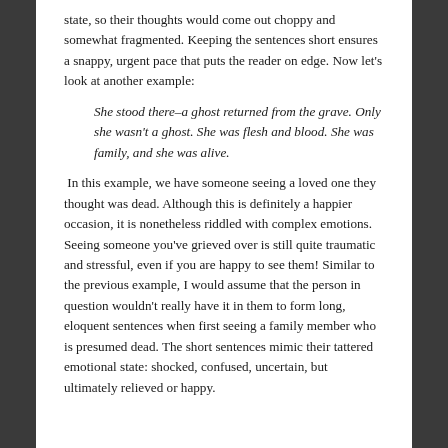state, so their thoughts would come out choppy and somewhat fragmented. Keeping the sentences short ensures a snappy, urgent pace that puts the reader on edge. Now let's look at another example:
She stood there–a ghost returned from the grave. Only she wasn't a ghost. She was flesh and blood. She was family, and she was alive.
In this example, we have someone seeing a loved one they thought was dead. Although this is definitely a happier occasion, it is nonetheless riddled with complex emotions. Seeing someone you've grieved over is still quite traumatic and stressful, even if you are happy to see them! Similar to the previous example, I would assume that the person in question wouldn't really have it in them to form long, eloquent sentences when first seeing a family member who is presumed dead. The short sentences mimic their tattered emotional state: shocked, confused, uncertain, but ultimately relieved or happy.